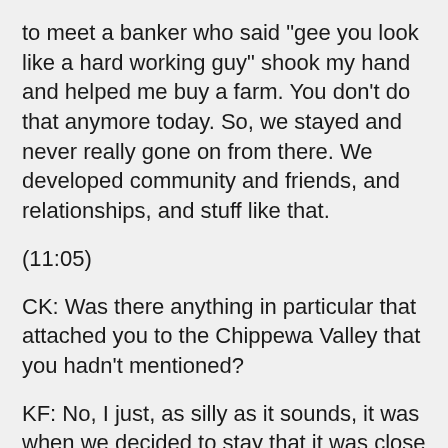to meet a banker who said "gee you look like a hard working guy" shook my hand and helped me buy a farm. You don't do that anymore today. So, we stayed and never really gone on from there. We developed community and friends, and relationships, and stuff like that.
(11:05)
CK: Was there anything in particular that attached you to the Chippewa Valley that you hadn't mentioned?
KF: No, I just, as silly as it sounds, it was when we decided to stay that it was close enough